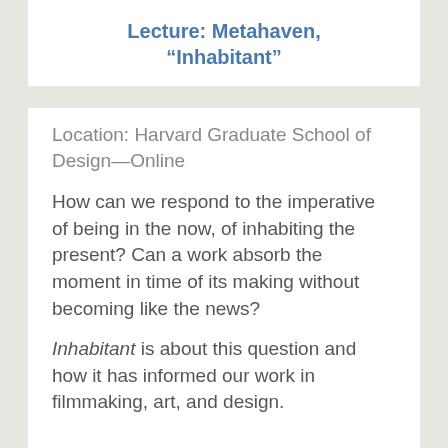Lecture: Metahaven, “Inhabitant”
Location: Harvard Graduate School of Design—Online
How can we respond to the imperative of being in the now, of inhabiting the present? Can a work absorb the moment in time of its making without becoming like the news?
Inhabitant is about this question and how it has informed our work in filmmaking, art, and design.